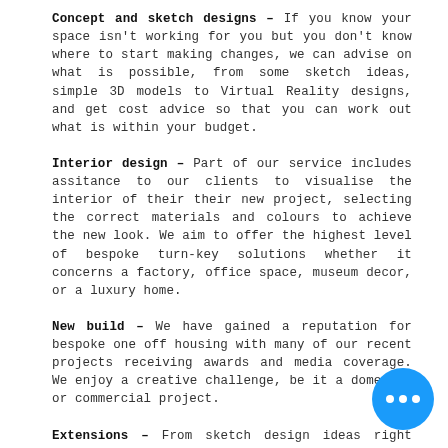Concept and sketch designs – If you know your space isn't working for you but you don't know where to start making changes, we can advise on what is possible, from some sketch ideas, simple 3D models to Virtual Reality designs, and get cost advice so that you can work out what is within your budget.
Interior design – Part of our service includes assitance to our clients to visualise the interior of their their new project, selecting the correct materials and colours to achieve the new look. We aim to offer the highest level of bespoke turn-key solutions whether it concerns a factory, office space, museum decor, or a luxury home.
New build – We have gained a reputation for bespoke one off housing with many of our recent projects receiving awards and media coverage. We enjoy a creative challenge, be it a domestic or commercial project.
Extensions – From sketch design ideas right through to dealing with builders on site we will help you through the process of extending. We will guide you through the permissions required, help you to find the right Contractor and our favourite part is making sure that the design is right and meets your aspirations.
Planning application submissions – Planning Permission is required for many external alterations to your but there are also many alterations and extensi can be done under what's known as 'Permitted Dev rights. We can advise on what sort of permission is